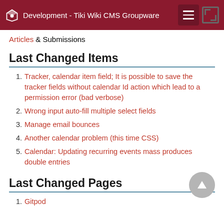Development - Tiki Wiki CMS Groupware
Articles & Submissions
Last Changed Items
Tracker, calendar item field; It is possible to save the tracker fields without calendar Id action which lead to a permission error (bad verbose)
Wrong input auto-fill multiple select fields
Manage email bounces
Another calendar problem (this time CSS)
Calendar: Updating recurring events mass produces double entries
Last Changed Pages
Gitpod